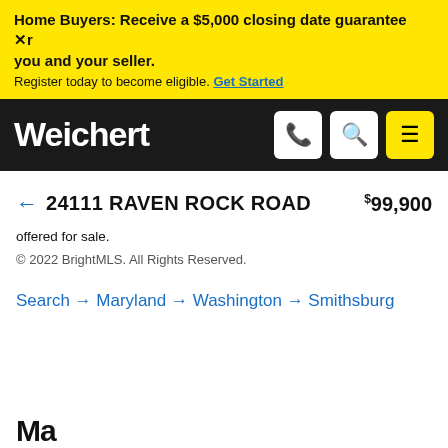Home Buyers: Receive a $5,000 closing date guarantee you and your seller. Register today to become eligible. Get Started
[Figure (logo): Weichert logo on black navigation bar with phone, search, and menu buttons]
← 24111 RAVEN ROCK ROAD $99,900
offered for sale.
© 2022 BrightMLS. All Rights Reserved.
Search → Maryland → Washington → Smithsburg